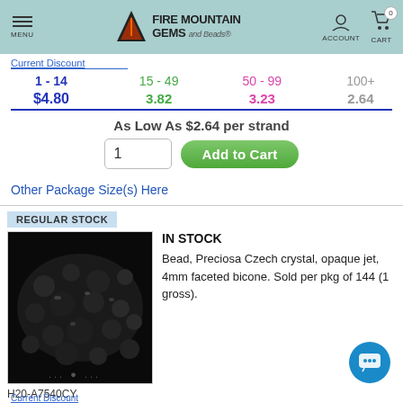Fire Mountain Gems and Beads — MENU | ACCOUNT | CART 0
| Current Discount | 1-14 | 15-49 | 50-99 | 100+ |
| --- | --- | --- | --- | --- |
| Current Discount | $4.80 | 3.82 | 3.23 | 2.64 |
As Low As $2.64 per strand
1  Add to Cart
Other Package Size(s) Here
REGULAR STOCK
[Figure (photo): Photo of black opaque jet 4mm faceted bicone crystal beads scattered on white background]
IN STOCK
Bead, Preciosa Czech crystal, opaque jet, 4mm faceted bicone. Sold per pkg of 144 (1 gross).
H20-A7540CY
Current Discount